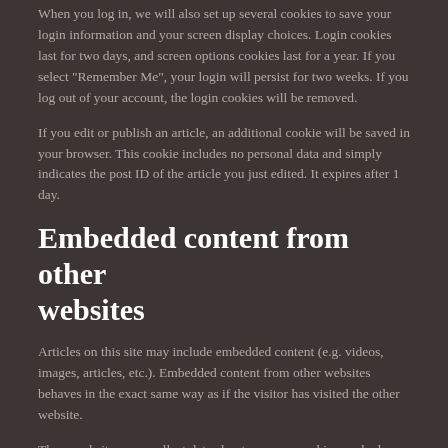When you log in, we will also set up several cookies to save your login information and your screen display choices. Login cookies last for two days, and screen options cookies last for a year. If you select "Remember Me", your login will persist for two weeks. If you log out of your account, the login cookies will be removed.
If you edit or publish an article, an additional cookie will be saved in your browser. This cookie includes no personal data and simply indicates the post ID of the article you just edited. It expires after 1 day.
Embedded content from other websites
Articles on this site may include embedded content (e.g. videos, images, articles, etc.). Embedded content from other websites behaves in the exact same way as if the visitor has visited the other website.
These websites may collect data about you, use cookies, embed additional third-party tracking, and monitor your interactions with that embedded content, including tracking your